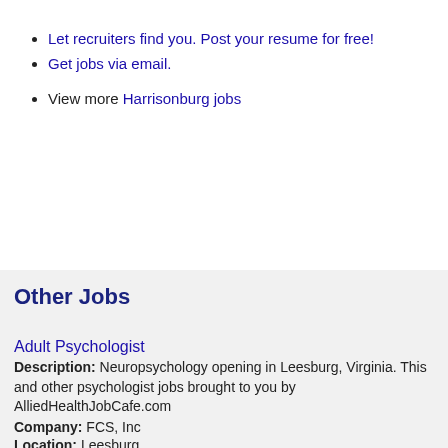Let recruiters find you. Post your resume for free!
Get jobs via email.
View more Harrisonburg jobs
Other Jobs
This website uses cookies to ensure you get the best experience on our website.
Adult Psychologist
Description: Neuropsychology opening in Leesburg, Virginia. This and other psychologist jobs brought to you by AlliedHealthJobCafe.com
Company: FCS, Inc
Location: Leesburg
Posted on: 09/3/2022